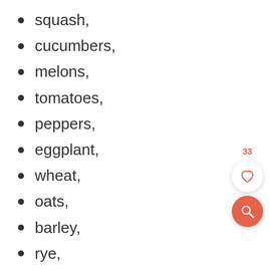squash,
cucumbers,
melons,
tomatoes,
peppers,
eggplant,
wheat,
oats,
barley,
rye,
beans,